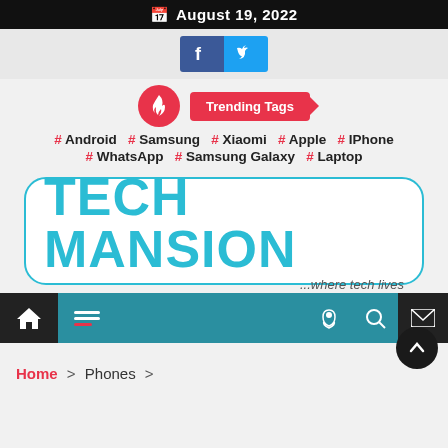August 19, 2022
[Figure (logo): Facebook and Twitter social share buttons]
[Figure (logo): Trending Tags section with fire icon and hashtag topics: Android, Samsung, Xiaomi, Apple, IPhone, WhatsApp, Samsung Galaxy, Laptop]
[Figure (logo): Tech Mansion logo — '...where tech lives']
[Figure (screenshot): Navigation bar with home, hamburger menu, moon, search, and mail icons]
Home > Phones >